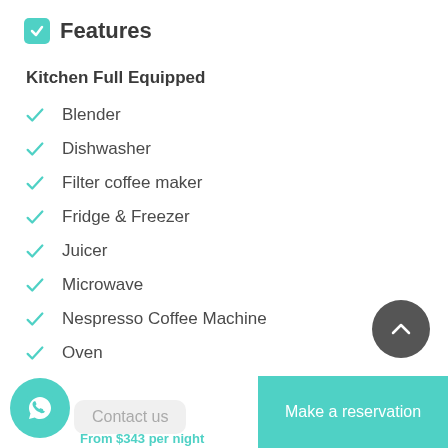Features
Kitchen Full Equipped
Blender
Dishwasher
Filter coffee maker
Fridge & Freezer
Juicer
Microwave
Nespresso Coffee Machine
Oven
Toaster
Contact us
From $343 per night
Make a reservation